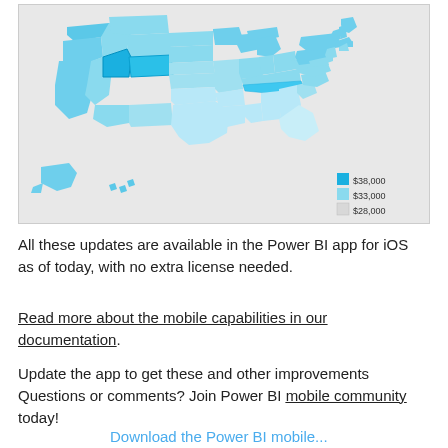[Figure (map): Choropleth map of the United States showing state-level data with three color categories: $38,000 (bright blue), $33,000 (medium blue), $28,000 (light gray). States like Utah and Colorado appear brightest blue. Legend shown in bottom right.]
All these updates are available in the Power BI app for iOS as of today, with no extra license needed.
Read more about the mobile capabilities in our documentation.
Update the app to get these and other improvements Questions or comments? Join Power BI mobile community today!
Download the Power BI mobile...